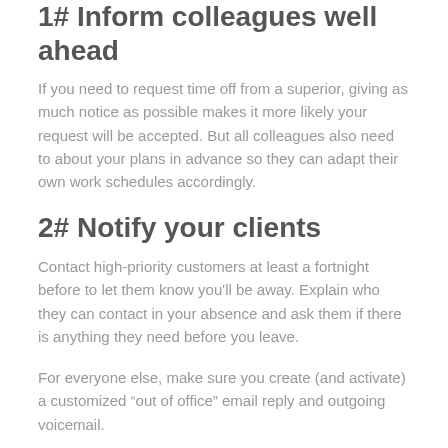1# Inform colleagues well ahead
If you need to request time off from a superior, giving as much notice as possible makes it more likely your request will be accepted. But all colleagues also need to about your plans in advance so they can adapt their own work schedules accordingly.
2# Notify your clients
Contact high-priority customers at least a fortnight before to let them know you'll be away. Explain who they can contact in your absence and ask them if there is anything they need before you leave.
For everyone else, make sure you create (and activate) a customized “out of office” email reply and outgoing voicemail.
3# Plan your schedules